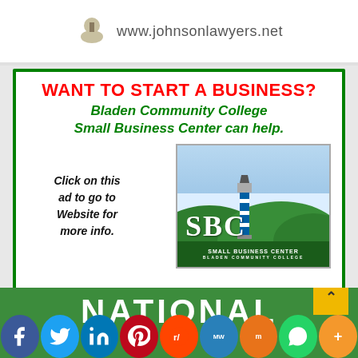[Figure (logo): Johnson Lawyers logo with www.johnsonlawyers.net URL]
[Figure (infographic): Bladen Community College Small Business Center advertisement. Red bold text: WANT TO START A BUSINESS? Green italic bold text: Bladen Community College Small Business Center can help. Black italic text: Click on this ad to go to Website for more info. SBC Small Business Center logo with lighthouse.]
[Figure (infographic): National advertisement section with green background showing NATIONAL text, social media share buttons (Facebook, Twitter, LinkedIn, Pinterest, Reddit, MeWe, Mix, WhatsApp, More), and a yellow back-to-top button.]